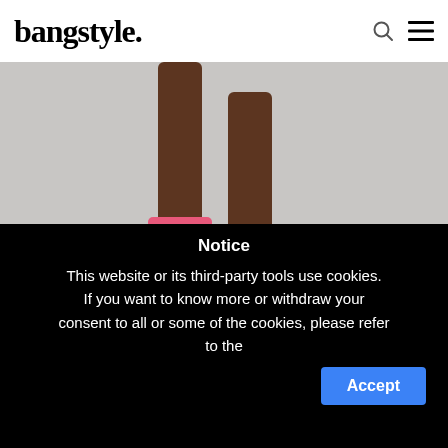bangstyle. [search icon] [menu icon]
[Figure (photo): Close-up photo of a model's legs and feet wearing pink high-heel sandals on a runway, shot from below with a light grey floor background.]
For more Fashion Week inspiration be sure to stay tuned and visit us on Instagram, Facebook, Twitter and
Notice

This website or its third-party tools use cookies. If you want to know more or withdraw your consent to all or some of the cookies, please refer to the
Accept